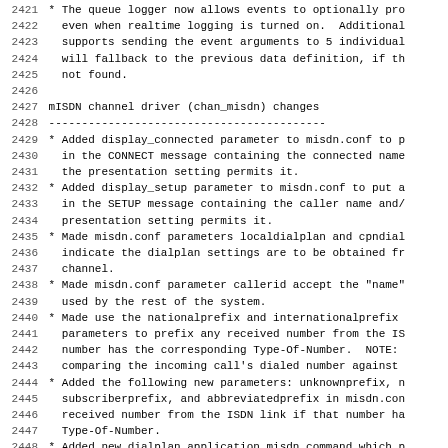2421  * The queue logger now allows events to optionally pro
2422    even when realtime logging is turned on.  Additionall
2423    supports sending the event arguments to 5 individual
2424    will fallback to the previous data definition, if th
2425    not found.
2426
2427 mISDN channel driver (chan_misdn) changes
2428 ------------------------------------------
2429  * Added display_connected parameter to misdn.conf to p
2430    in the CONNECT message containing the connected name
2431    the presentation setting permits it.
2432  * Added display_setup parameter to misdn.conf to put a
2433    in the SETUP message containing the caller name and/
2434    presentation setting permits it.
2435  * Made misdn.conf parameters localdialplan and cpndial
2436    indicate the dialplan settings are to be obtained fr
2437    channel.
2438  * Made misdn.conf parameter callerid accept the "name"
2439    used by the rest of the system.
2440  * Made use the nationalprefix and internationalprefix
2441    parameters to prefix any received number from the IS
2442    number has the corresponding Type-Of-Number.  NOTE:
2443    comparing the incoming call's dialed number against
2444  * Added the following new parameters: unknownprefix, n
2445    subscriberprefix, and abbreviatedprefix in misdn.con
2446    received number from the ISDN link if that number ha
2447    Type-Of-Number.
2448  * Added new dialplan application misdn_command which p
2449    the CCBS/CCNR functionality.
2450  * Added new dialplan function mISDN_CC which permits r
2451    values from an active call completion record.
2452  * For PTP, you should manually send the COLR of the re
2453    ...